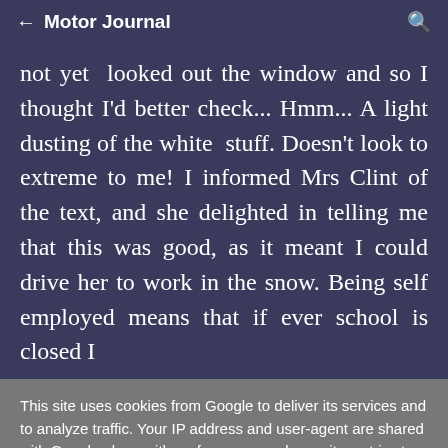← Motor Journal 🔍
not yet looked out the window and so I thought I'd better check... Hmm... A light dusting of the white stuff. Doesn't look to extreme to me! I informed Mrs Clint of the text, and she delighted in telling me that this was good, as it meant I could drive her to work in the snow. Being self employed means that if ever school is closed I
This site uses cookies from Google to deliver its services and to analyze traffic. Your IP address and user-agent are shared with Google along with performance and security metrics to ensure quality of service, generate usage statistics, and to detect and address abuse.
LEARN MORE    OK